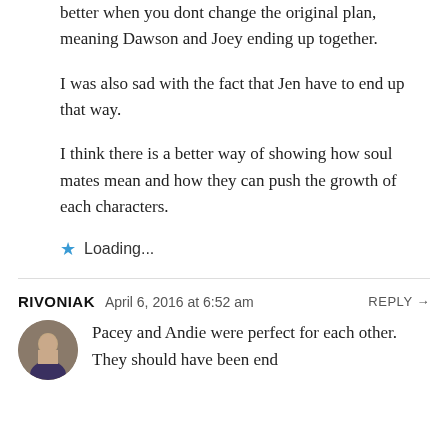better when you dont change the original plan, meaning Dawson and Joey ending up together.
I was also sad with the fact that Jen have to end up that way.
I think there is a better way of showing how soul mates mean and how they can push the growth of each characters.
★ Loading...
RIVONIAK  April 6, 2016 at 6:52 am  REPLY →
Pacey and Andie were perfect for each other. They should have been end